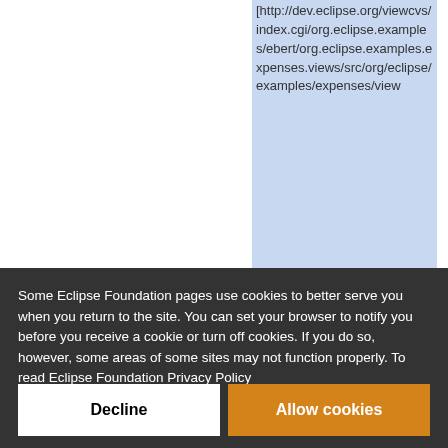[http://dev.eclipse.org/viewcvs/index.cgi/org.eclipse.examples/ebert/org.eclipse.examples.expenses.views/src/org/eclipse/examples/expenses/view
Some Eclipse Foundation pages use cookies to better serve you when you return to the site. You can set your browser to notify you before you receive a cookie or turn off cookies. If you do so, however, some areas of some sites may not function properly. To read Eclipse Foundation Privacy Policy click here.
Decline
Allow cookies
a service is added or